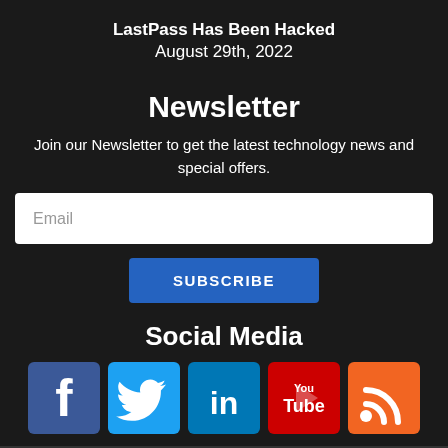LastPass Has Been Hacked
August 29th, 2022
Newsletter
Join our Newsletter to get the latest technology news and special offers.
[Figure (other): Email input field with placeholder text 'Email']
[Figure (other): Subscribe button with label 'SUBSCRIBE']
Social Media
[Figure (other): Row of social media icons: Facebook, Twitter, LinkedIn, YouTube, RSS Feed]